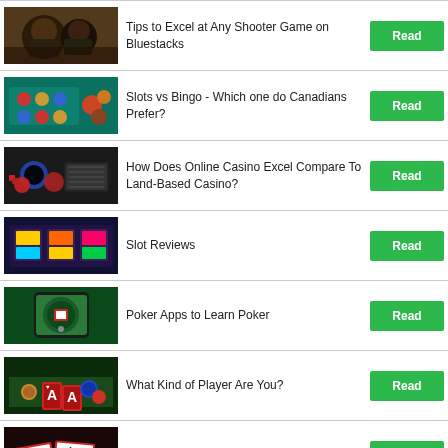Tips to Excel at Any Shooter Game on Bluestacks
Slots vs Bingo - Which one do Canadians Prefer?
How Does Online Casino Excel Compare To Land-Based Casino?
Slot Reviews
Poker Apps to Learn Poker
What Kind of Player Are You?
Top 5 Online Casino Tips to Follow in 2022